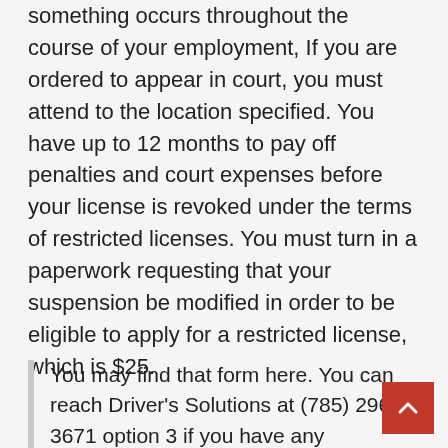something occurs throughout the course of your employment, If you are ordered to appear in court, you must attend to the location specified. You have up to 12 months to pay off penalties and court expenses before your license is revoked under the terms of restricted licenses. You must turn in a paperwork requesting that your suspension be modified in order to be eligible to apply for a restricted license, which is $25.
You may find that form here. You can reach Driver's Solutions at (785) 296-3671 option 3 if you have any questions about whether you are responsible for any reinstatement or administrative fees.